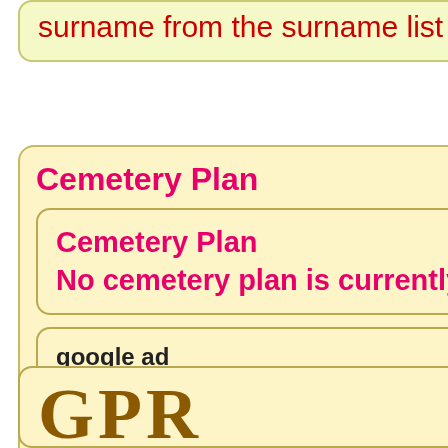surname from the surname list on its left.
Cemetery Plan
Cemetery Plan
No cemetery plan is currently available on the GPR.
google ad
where am I: Home > Countries > England > Yorkshire > Altofts >Section B
GPR